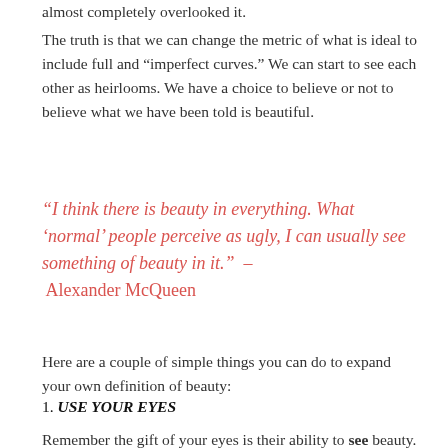almost completely overlooked it.
The truth is that we can change the metric of what is ideal to include full and “imperfect curves.” We can start to see each other as heirlooms. We have a choice to believe or not to believe what we have been told is beautiful.
“I think there is beauty in everything. What ‘normal’ people perceive as ugly, I can usually see something of beauty in it.”  – Alexander McQueen
Here are a couple of simple things you can do to expand your own definition of beauty:
1. USE YOUR EYES
Remember the gift of your eyes is their ability to see beauty. Let them absorb the beauty around you. Notice birds, trees, light, shadow and patterns in